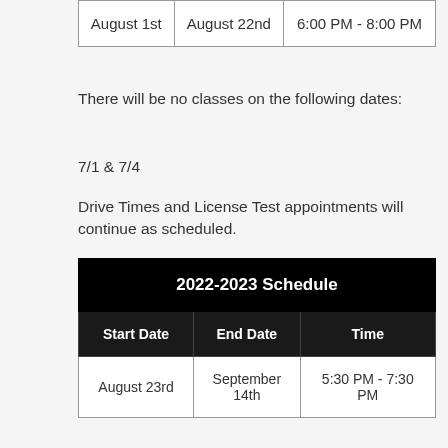| Start Date | End Date | Time |
| --- | --- | --- |
| August 1st | August 22nd | 6:00 PM - 8:00 PM |
There will be no classes on the following dates:
7/1 & 7/4
Drive Times and License Test appointments will continue as scheduled.
| Start Date | End Date | Time |
| --- | --- | --- |
| August 23rd | September 14th | 5:30 PM - 7:30 PM |